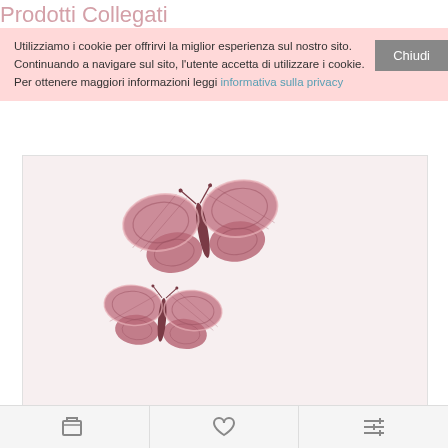Prodotti Collegati
Utilizziamo i cookie per offrirvi la miglior esperienza sul nostro sito. Continuando a navigare sul sito, l'utente accetta di utilizzare i cookie. Per ottenere maggiori informazioni leggi informativa sulla privacy
[Figure (photo): Two pink embroidered butterfly appliques on a light pink background]
Iron-On Embroidery Sticker - Baby Butterfly - Pink
Pack of 3 iron-on embroidery  butterfly applications. T..
2.42€